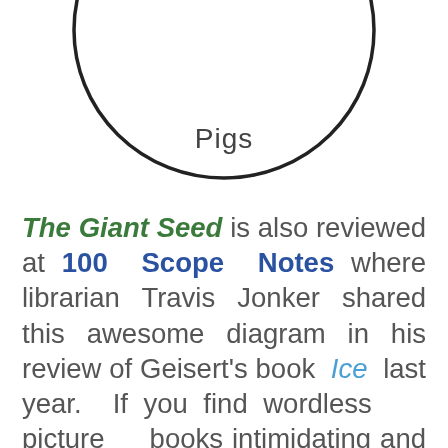[Figure (illustration): Hand-drawn illustration of a pig face in a round circle shape, with the word 'Pigs' written in handwriting inside the circle at the bottom. Only the lower portion of the circle illustration is visible at the top of the page.]
The Giant Seed is also reviewed at 100 Scope Notes where librarian Travis Jonker shared this awesome diagram in his review of Geisert's book Ice last year. If you find wordless picture books intimidating and difficult to read out loud or are seeking to deepen your appreciation of them, check out my article How to Read a Book Without Words (Out Loud). For more great wordless picture